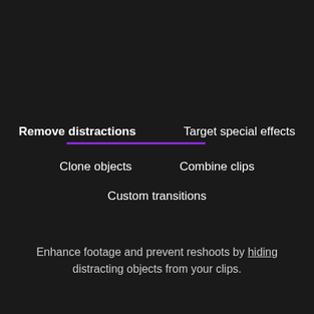Remove distractions
Target special effects
Clone objects
Combine clips
Custom transitions
Enhance footage and prevent reshoots by hiding distracting objects from your clips.